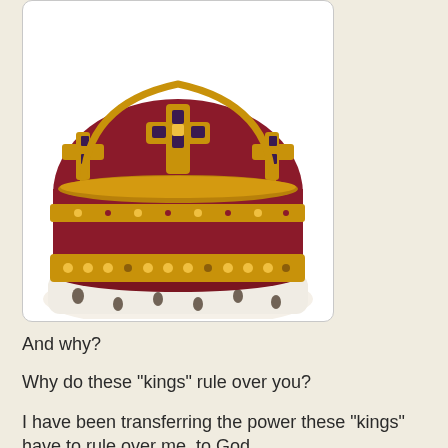[Figure (photo): A royal crown with dark red velvet, gold metalwork, crosses and decorative jewels, sitting on white ermine fur trim, photographed against a white background inside a rounded-corner bordered box.]
And why?
Why do these "kings"  rule over you?
I have been transferring the power these "kings" have to rule over me, to God.
My Abba.
My Daddy.